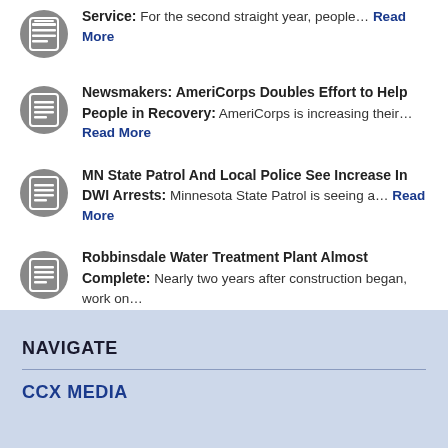Service: For the second straight year, people… Read More
Newsmakers: AmeriCorps Doubles Effort to Help People in Recovery: AmeriCorps is increasing their… Read More
MN State Patrol And Local Police See Increase In DWI Arrests: Minnesota State Patrol is seeing a… Read More
Robbinsdale Water Treatment Plant Almost Complete: Nearly two years after construction began, work on… Read More
NAVIGATE
CCX MEDIA